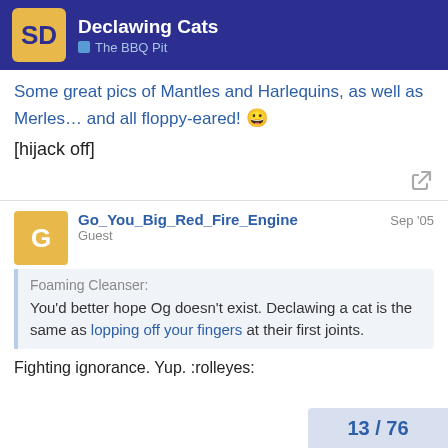Declawing Cats — The BBQ Pit
Some great pics of Mantles and Harlequins, as well as Merles… and all floppy-eared! 😀
[hijack off]
Go_You_Big_Red_Fire_Engine — Guest — Sep '05
Foaming Cleanser: You'd better hope Og doesn't exist. Declawing a cat is the same as lopping off your fingers at their first joints.
Fighting ignorance. Yup. :rolleyes:
13 / 76